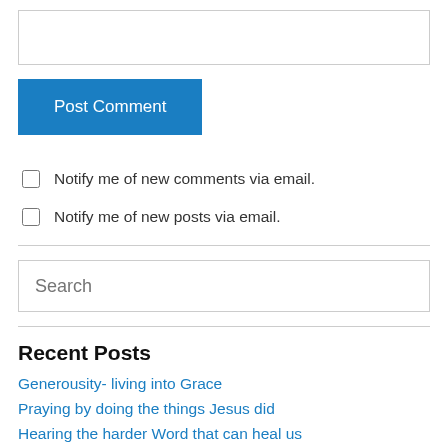[Figure (other): Empty text input field]
[Figure (other): Post Comment button (blue)]
Notify me of new comments via email.
Notify me of new posts via email.
[Figure (other): Search input field with placeholder text 'Search']
Recent Posts
Generousity- living into Grace
Praying by doing the things Jesus did
Hearing the harder Word that can heal us